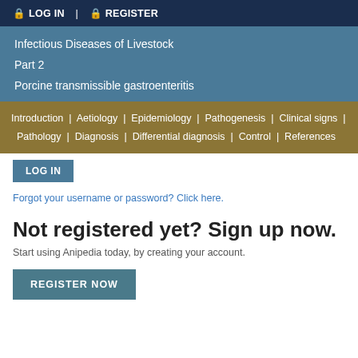🔒 LOG IN  |  🔒 REGISTER
Infectious Diseases of Livestock
Part 2
Porcine transmissible gastroenteritis
Introduction | Aetiology | Epidemiology | Pathogenesis | Clinical signs | Pathology | Diagnosis | Differential diagnosis | Control | References
LOG IN
Forgot your username or password? Click here.
Not registered yet? Sign up now.
Start using Anipedia today, by creating your account.
REGISTER NOW